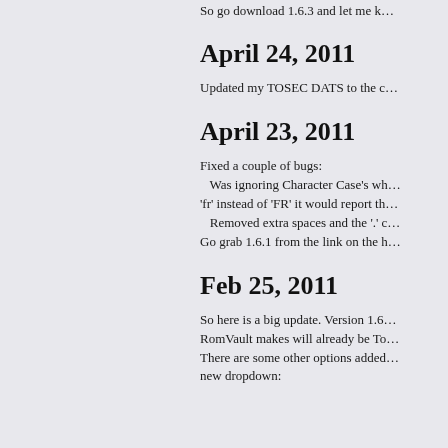So go download 1.6.3 and let me k…
April 24, 2011
Updated my TOSEC DATS to the c…
April 23, 2011
Fixed a couple of bugs:
   Was ignoring Character Case's wh… 'fr' instead of 'FR' it would report th…
   Removed extra spaces and the '.' c…
Go grab 1.6.1 from the link on the h…
Feb 25, 2011
So here is a big update. Version 1.6… RomVault makes will already be To… There are some other options added… new dropdown: